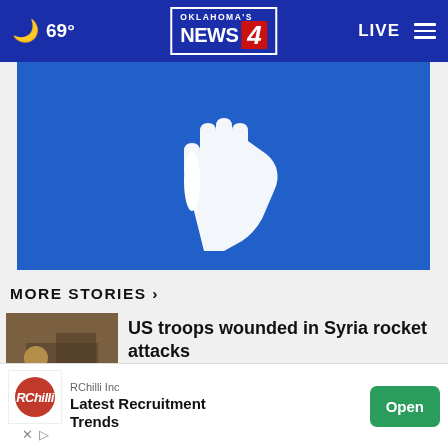🌙 69° | OKLAHOMA'S NEWS 4 | LIVE
[Figure (illustration): Blue banner image with white hand silhouette (stop/awareness hand icon) centered on a blue background]
MORE STORIES >
[Figure (photo): Thumbnail photo related to Syria rocket attack story — people in street scene]
US troops wounded in Syria rocket attacks
[Figure (photo): Thumbnail photo related to Uvalde school board story — person at podium]
Uvalde school board fires police chief
[Figure (photo): Thumbnail photo — red banner with FATAL CRASH text visible]
ct.
[Figure (infographic): Advertisement banner: RChilli Inc — Latest Recruitment Trends — Open button]
RChilli Inc
Latest Recruitment Trends